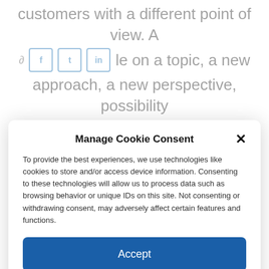customers with a different point of view. A ... le on a topic, a new approach, a new perspective, possibility
Manage Cookie Consent
To provide the best experiences, we use technologies like cookies to store and/or access device information. Consenting to these technologies will allow us to process data such as browsing behavior or unique IDs on this site. Not consenting or withdrawing consent, may adversely affect certain features and functions.
Accept
Deny
View preferences
Cookie Policy   Privacy Policy